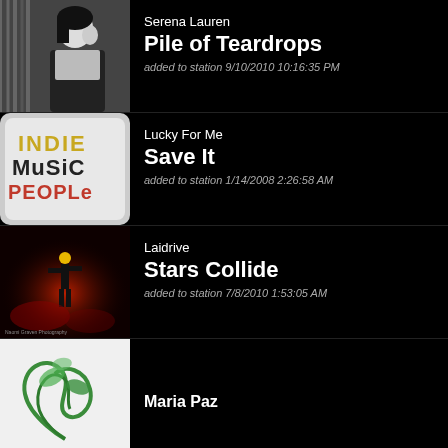[Figure (photo): Black and white photo of woman posing]
Serena Lauren
Pile of Teardrops
added to station 9/10/2010 10:16:35 PM
[Figure (logo): Indie Music People logo with colorful text on light background]
Lucky For Me
Save It
added to station 1/14/2008 2:26:58 AM
[Figure (photo): Red-lit concert photo of performer on stage, Naomi Graven Photography]
Laidrive
Stars Collide
added to station 7/8/2010 1:53:05 AM
[Figure (illustration): Green swirling smoke/plant illustration on white background]
Maria Paz